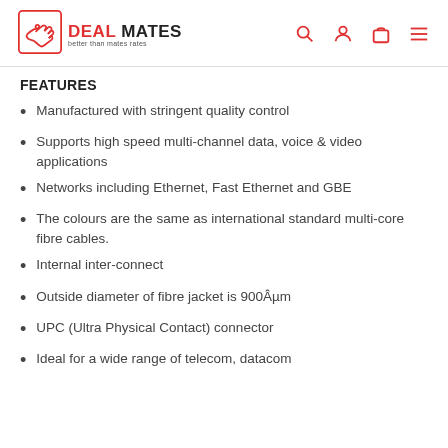DEAL MATES - better than mates rates
FEATURES
Manufactured with stringent quality control
Supports high speed multi-channel data, voice & video applications
Networks including Ethernet, Fast Ethernet and GBE
The colours are the same as international standard multi-core fibre cables.
Internal inter-connect
Outside diameter of fibre jacket is 900Âµm
UPC (Ultra Physical Contact) connector
Ideal for a wide range of telecom, datacom